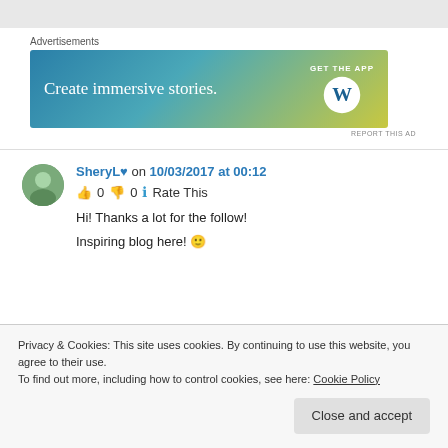[Figure (infographic): Grey top navigation bar]
Advertisements
[Figure (illustration): WordPress advertisement banner: 'Create immersive stories.' with 'GET THE APP' and WordPress logo]
REPORT THIS AD
SheryL♥ on 10/03/2017 at 00:12
👍 0 👎 0 ℹ Rate This
Hi! Thanks a lot for the follow!
Inspiring blog here! 🙂
Privacy & Cookies: This site uses cookies. By continuing to use this website, you agree to their use.
To find out more, including how to control cookies, see here: Cookie Policy
Close and accept